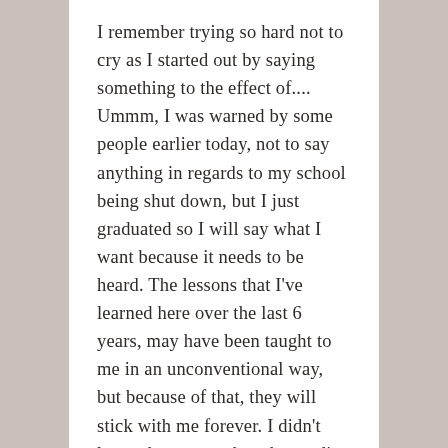I remember trying so hard not to cry as I started out by saying something to the effect of.... Ummm, I was warned by some people earlier today, not to say anything in regards to my school being shut down, but I just graduated so I will say what I want because it needs to be heard. The lessons that I've learned here over the last 6 years, may have been taught to me in an unconventional way, but because of that, they will stick with me forever. I didn't learn about metaphors by reading about them in the standard boring textbook. Our teacher had us listen to and dissect a Jackson Brown song titled